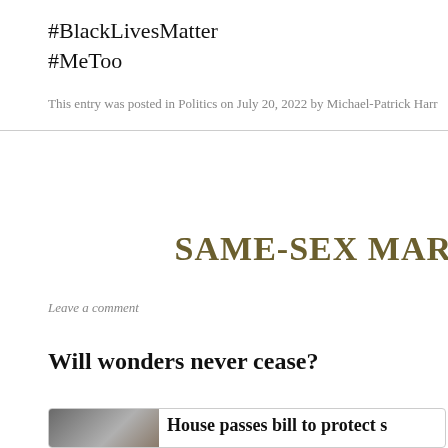#BlackLivesMatter
#MeToo
This entry was posted in Politics on July 20, 2022 by Michael-Patrick Harr
SAME-SEX MAR
Leave a comment
Will wonders never cease?
[Figure (screenshot): News article card with photo of a woman and headline: House passes bill to protect s]